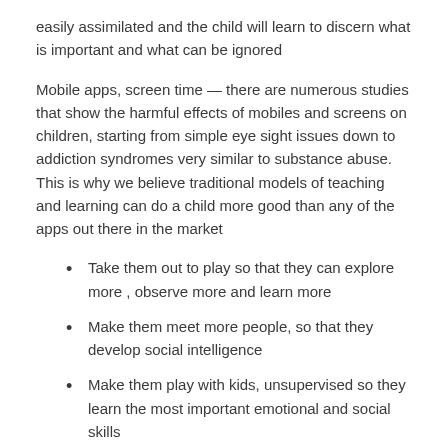easily assimilated and the child will learn to discern what is important and what can be ignored
Mobile apps, screen time — there are numerous studies that show the harmful effects of mobiles and screens on children, starting from simple eye sight issues down to addiction syndromes very similar to substance abuse. This is why we believe traditional models of teaching and learning can do a child more good than any of the apps out there in the market
Take them out to play so that they can explore more , observe more and learn more
Make them meet more people, so that they develop social intelligence
Make them play with kids, unsupervised so they learn the most important emotional and social skills
Read to them — A great way to show love, affection and